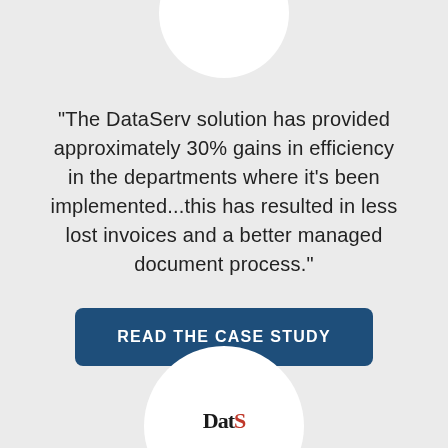[Figure (illustration): White circle partially cropped at the top of the page, centered horizontally]
"The DataServ solution has provided approximately 30% gains in efficiency in the departments where it's been implemented...this has resulted in less lost invoices and a better managed document process."
[Figure (other): Dark blue rounded rectangle button with white uppercase text reading READ THE CASE STUDY]
[Figure (logo): White circle partially cropped at the bottom of the page with partial DataServ logo text visible]